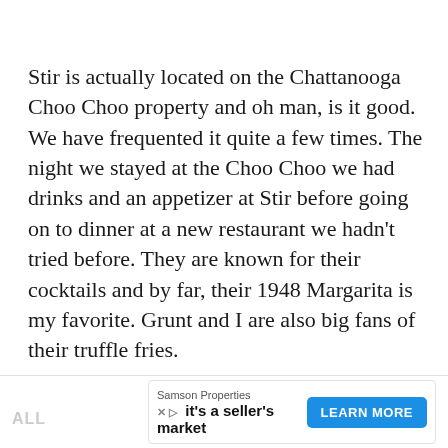Stir is actually located on the Chattanooga Choo Choo property and oh man, is it good. We have frequented it quite a few times. The night we stayed at the Choo Choo we had drinks and an appetizer at Stir before going on to dinner at a new restaurant we hadn't tried before. They are known for their cocktails and by far, their 1948 Margarita is my favorite. Grunt and I are also big fans of their truffle fries.
[Figure (other): Advertisement banner: Samson Properties — 'it's a seller's market' with a blue LEARN MORE button and an X/ad icon.]